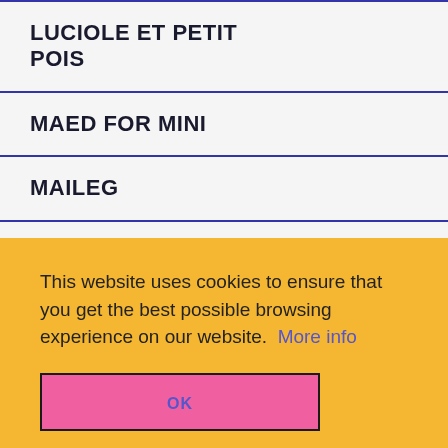LUCIOLE ET PETIT POIS
MAED FOR MINI
MAILEG
MAKII
This website uses cookies to ensure that you get the best possible browsing experience on our website. More info
OK